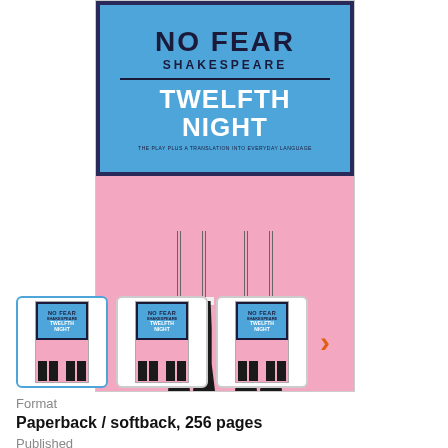[Figure (photo): Book cover of No Fear Shakespeare: Twelfth Night, showing blue header section with title and pink lower section with illustrated black boots/legs. Three thumbnail images of the same book cover displayed in a row below the main image, with a right-arrow chevron navigation button.]
Format
Paperback / softback, 256 pages
Published